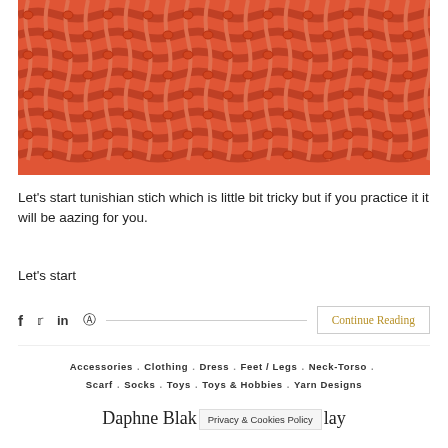[Figure (photo): Close-up macro photograph of coral/orange-red chunky knit or crochet fabric texture showing Tunisian stitch pattern]
Let's start tunishian stich which is little bit tricky but if you practice it it will be aazing for you.
Let's start
f  t  in  @  ————————————————————  Continue Reading
Accessories . Clothing . Dress . Feet / Legs . Neck-Torso . Scarf . Socks . Toys . Toys & Hobbies . Yarn Designs
Daphne Blake  [Privacy & Cookies Policy]  lay